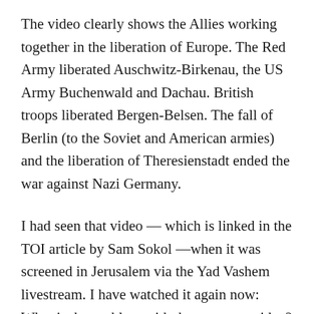The video clearly shows the Allies working together in the liberation of Europe. The Red Army liberated Auschwitz-Birkenau, the US Army Buchenwald and Dachau. British troops liberated Bergen-Belsen. The fall of Berlin (to the Soviet and American armies) and the liberation of Theresienstadt ended the war against Nazi Germany.
I had seen that video — which is linked in the TOI article by Sam Sokol —when it was screened in Jerusalem via the Yad Vashem livestream. I have watched it again now: What is the problem with that accurate video? As in any concise synopsis, many things are of necessity left out. But, it rightly explains how the Allies, including, and most importantly in the